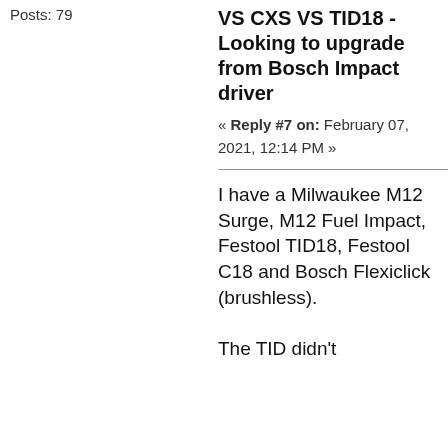Posts: 79
VS CXS VS TID18 - Looking to upgrade from Bosch Impact driver
« Reply #7 on: February 07, 2021, 12:14 PM »
I have a Milwaukee M12 Surge, M12 Fuel Impact, Festool TID18, Festool C18 and Bosch Flexiclick (brushless).
The TID didn't